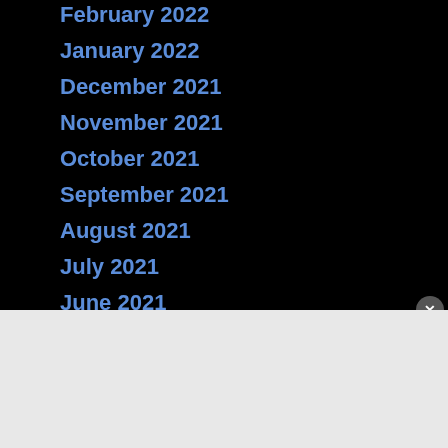February 2022
January 2022
December 2021
November 2021
October 2021
September 2021
August 2021
July 2021
June 2021
Advertisements:
[Figure (screenshot): DuckDuckGo advertisement banner with orange background. Text reads: 'Search, browse, and email with more privacy. All in One Free App' with DuckDuckGo logo and phone mockup on the right side.]